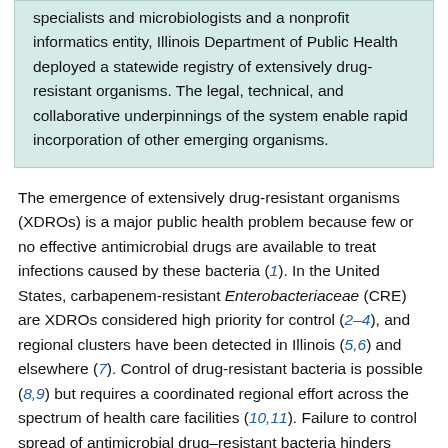specialists and microbiologists and a nonprofit informatics entity, Illinois Department of Public Health deployed a statewide registry of extensively drug-resistant organisms. The legal, technical, and collaborative underpinnings of the system enable rapid incorporation of other emerging organisms.
The emergence of extensively drug-resistant organisms (XDROs) is a major public health problem because few or no effective antimicrobial drugs are available to treat infections caused by these bacteria (1). In the United States, carbapenem-resistant Enterobacteriaceae (CRE) are XDROs considered high priority for control (2–4), and regional clusters have been detected in Illinois (5,6) and elsewhere (7). Control of drug-resistant bacteria is possible (8,9) but requires a coordinated regional effort across the spectrum of health care facilities (10,11). Failure to control spread of antimicrobial drug–resistant bacteria hinders medical care at a growing number of facilities by creating hazardous opportunities for untreatable infections during aggressive medical interventions (12)